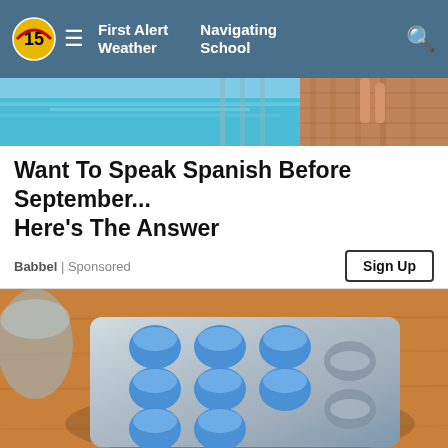First Alert Weather   Navigating School
[Figure (photo): Top portion of a beach/resort scene with turquoise water and a wooden dock, person walking on the dock]
Want To Speak Spanish Before September... Here's The Answer
Babbel | Sponsored
Sign Up
[Figure (photo): Blue pills/tablets scattered from a silver blister pack on a wooden surface]